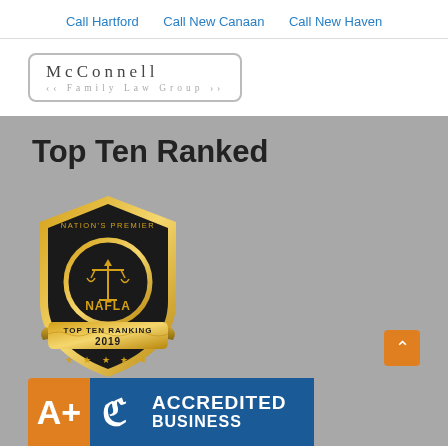Call Hartford   Call New Canaan   Call New Haven
[Figure (logo): McConnell Family Law Group logo in a rounded rectangle border]
Top Ten Ranked
[Figure (logo): NAFLA Nation's Premier Top Ten Ranking 2019 badge with gold shield, scales of justice, and scroll banner]
[Figure (logo): BBB A+ Accredited Business badge with orange A+ box and blue BBB logo and accredited business text]